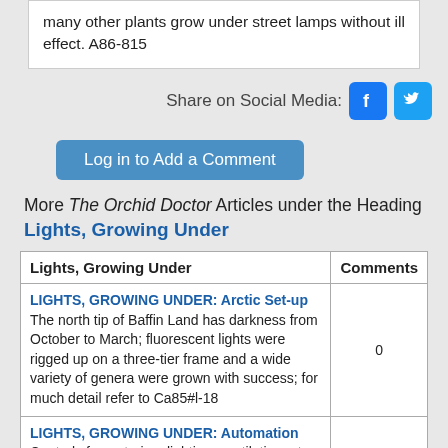many other plants grow under street lamps without ill effect. A86-815
Share on Social Media:
Log in to Add a Comment
More The Orchid Doctor Articles under the Heading Lights, Growing Under
| Lights, Growing Under | Comments |
| --- | --- |
| LIGHTS, GROWING UNDER: Arctic Set-up The north tip of Baffin Land has darkness from October to March; fluorescent lights were rigged up on a three-tier frame and a wide variety of genera were grown with success; for much detail refer to Ca85#l-18 | 0 |
| LIGHTS, GROWING UNDER: Automation Controls for watering, lighting, ventilation, etc. described and illustrated, refer to A86-704 | 0 |